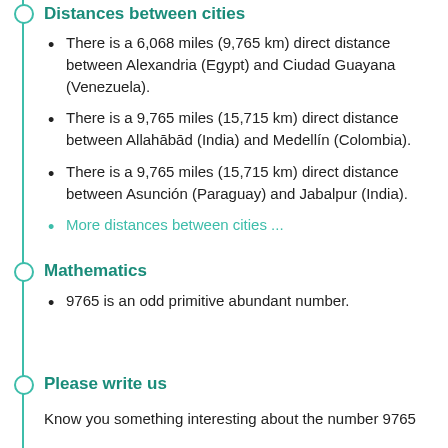Distances between cities
There is a 6,068 miles (9,765 km) direct distance between Alexandria (Egypt) and Ciudad Guayana (Venezuela).
There is a 9,765 miles (15,715 km) direct distance between Allahābād (India) and Medellín (Colombia).
There is a 9,765 miles (15,715 km) direct distance between Asunción (Paraguay) and Jabalpur (India).
More distances between cities ...
Mathematics
9765 is an odd primitive abundant number.
Please write us
Know you something interesting about the number 9765